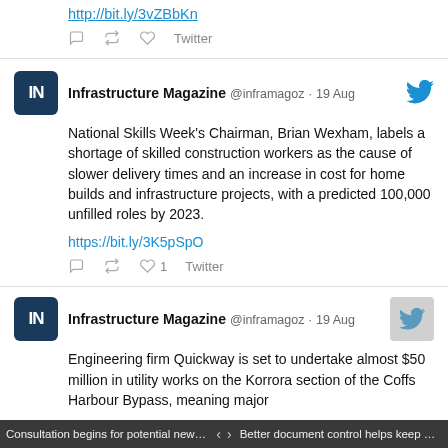http://bit.ly/3vZBbKn
Twitter
[Figure (screenshot): Tweet from Infrastructure Magazine @inframagoz · 19 Aug: National Skills Week's Chairman, Brian Wexham, labels a shortage of skilled construction workers as the cause of slower delivery times and an increase in cost for home builds and infrastructure projects, with a predicted 100,000 unfilled roles by 2023. https://bit.ly/3K5pSpO]
Twitter 1
[Figure (screenshot): Tweet from Infrastructure Magazine @inframagoz · 19 Aug: Engineering firm Quickway is set to undertake almost $50 million in utility works on the Korrora section of the Coffs Harbour Bypass, meaning major]
Consultation begins for potential new cr... < > Better document control helps keep Sydn...